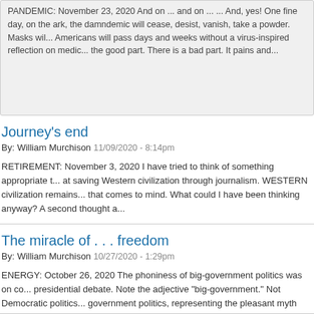PANDEMIC: November 23, 2020 And on ... and on ... ... And, yes! One fine day, on the ark, the damndemic will cease, desist, vanish, take a powder. Masks wil... Americans will pass days and weeks without a virus-inspired reflection on medic... the good part. There is a bad part. It pains and...
Journey's end
By: William Murchison 11/09/2020 - 8:14pm
RETIREMENT: November 3, 2020 I have tried to think of something appropriate t... at saving Western civilization through journalism. WESTERN civilization remains... that comes to mind. What could I have been thinking anyway? A second thought... a...
The miracle of . . . freedom
By: William Murchison 10/27/2020 - 1:29pm
ENERGY: October 26, 2020 The phoniness of big-government politics was on co... presidential debate. Note the adjective "big-government." Not Democratic politics... government politics, representing the pleasant myth that politicians at the top of t...